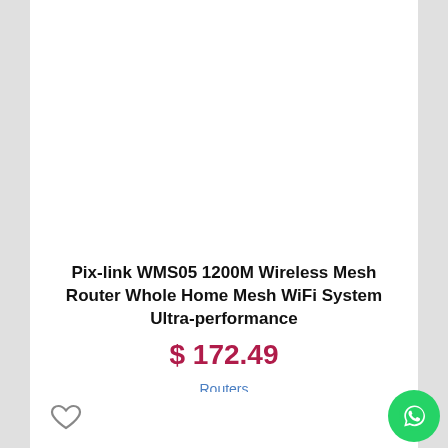[Figure (photo): White product image area (blank/white space where product photo would appear)]
Pix-link WMS05 1200M Wireless Mesh Router Whole Home Mesh WiFi System Ultra-performance
$ 172.49
Routers